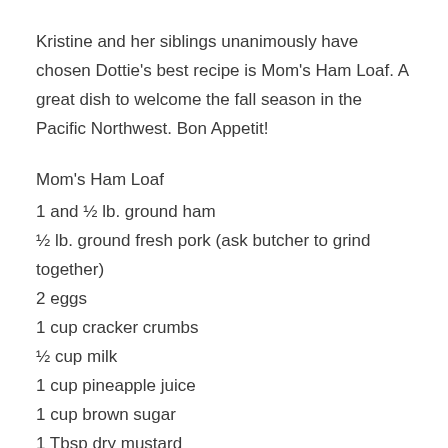Kristine and her siblings unanimously have chosen Dottie's best recipe is Mom's Ham Loaf. A great dish to welcome the fall season in the Pacific Northwest. Bon Appetit!
Mom's Ham Loaf
1 and ½ lb. ground ham
½ lb. ground fresh pork (ask butcher to grind together)
2 eggs
1 cup cracker crumbs
½ cup milk
1 cup pineapple juice
1 cup brown sugar
1 Tbsp dry mustard